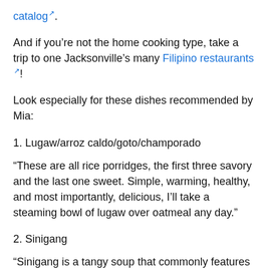catalog. (link)
And if you're not the home cooking type, take a trip to one Jacksonville's many Filipino restaurants!
Look especially for these dishes recommended by Mia:
1. Lugaw/arroz caldo/goto/champorado
“These are all rice porridges, the first three savory and the last one sweet. Simple, warming, healthy, and most importantly, delicious, I’ll take a steaming bowl of lugaw over oatmeal any day.”
2. Sinigang
“Sinigang is a tangy soup that commonly features pork, shrimp, or fish and green vegetables in a sour broth flavored with local fruits, such as tamarind. It